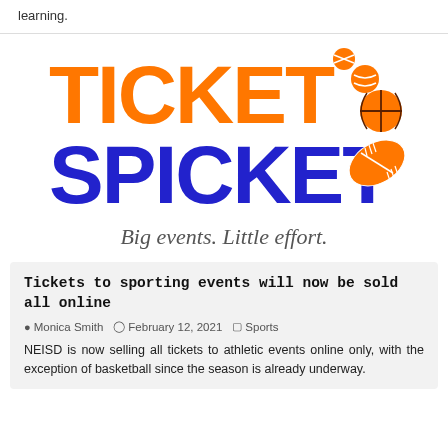learning.
[Figure (logo): Ticket Spicket logo with orange 'TICKET' text, blue 'SPICKET' text, sports balls, and tagline 'Big events. Little effort.']
Tickets to sporting events will now be sold all online
Monica Smith  February 12, 2021  Sports
NEISD is now selling all tickets to athletic events online only, with the exception of basketball since the season is already underway.